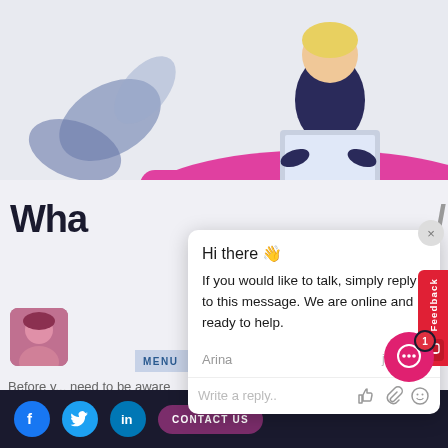[Figure (illustration): Person sitting at a desk with laptop, decorative leaves in background, pink/magenta desk surface, blue-gray tones]
Wha
[Figure (screenshot): Chat popup widget with greeting 'Hi there 👋', message 'If you would like to talk, simply reply to this message. We are online and ready to help.', sender Arina, just now, reply input field with thumbs up, paperclip, and smiley icons]
Hi there 👋
If you would like to talk, simply reply to this message. We are online and ready to help.
Arina
just now
Write a reply..
Before y... need to be aware
such
engineers. Java, Spring,
Kafka, cloud computing (AWS), Git, and Scala
Feedback
CONTACT US
[Figure (illustration): Chat bubble button with badge showing 1 notification, pink/magenta color]